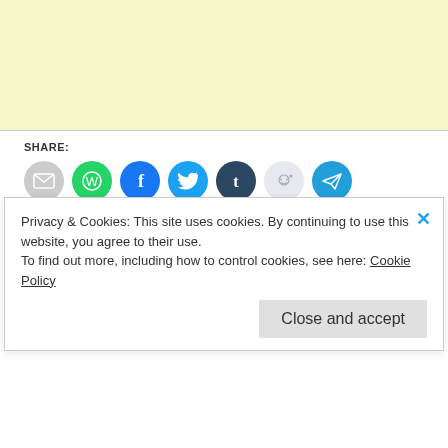[Figure (other): Yellow/cream colored advertisement banner at top of page]
SHARE:
[Figure (infographic): Row of social share icon buttons: email (grey), WhatsApp (green), Facebook (blue), Twitter (blue), Tumblr (dark navy), Reddit (light grey/blue), Telegram (cyan)]
The world's top cellphone maker Nokia will start to make laptops, entering a fiercely competitive but fast-growing market with a netbook running Microsoft's Windows operating s
Privacy & Cookies: This site uses cookies. By continuing to use this website, you agree to their use.
To find out more, including how to control cookies, see here: Cookie Policy
Close and accept